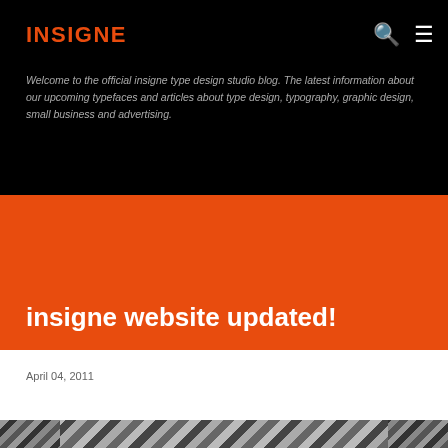INSIGNE
Welcome to the official insigne type design studio blog. The latest information about our upcoming typefaces and articles about type design, typography, graphic design, small business and advertising.
insigne website updated!
April 04, 2011
[Figure (photo): Partial image of typographic or design material visible at the bottom of the page, shown in black and white with diagonal striped patterns]